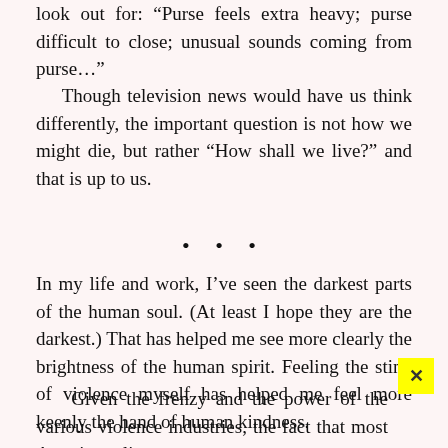look out for: “Purse feels extra heavy; purse difficult to close; unusual sounds coming from purse…”
Though television news would have us think differently, the important question is not how we might die, but rather “How shall we live?” and that is up to us.
• • •
In my life and work, I’ve seen the darkest parts of the human soul. (At least I hope they are the darkest.) That has helped me see more clearly the brightness of the human spirit. Feeling the sting of violence myself has helped me feel more keenly the hand of human kindness.
Given the frenzy and the power of the various violence industries, the fact that most Americans li…